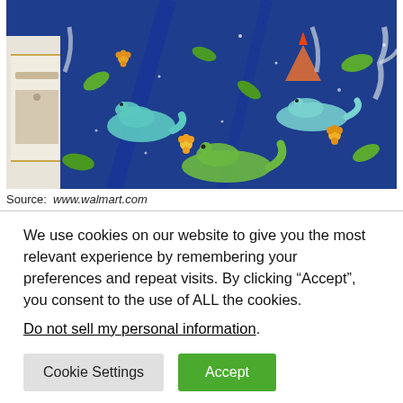[Figure (photo): A blue dinosaur-themed bedspread/comforter on a bed, featuring colorful cartoon dinosaurs, flowers, and leaves on a dark navy blue background. A white nightstand is visible on the left side.]
Source: www.walmart.com
We use cookies on our website to give you the most relevant experience by remembering your preferences and repeat visits. By clicking “Accept”, you consent to the use of ALL the cookies. Do not sell my personal information.